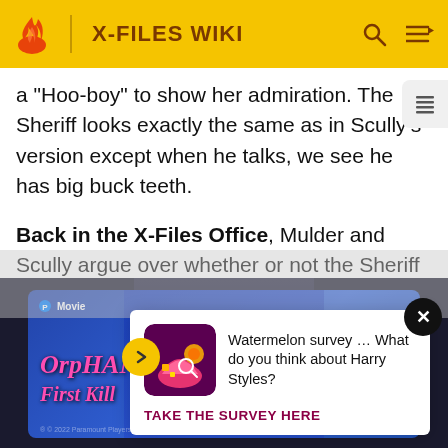X-FILES WIKI
a "Hoo-boy" to show her admiration. The Sheriff looks exactly the same as in Scully's version except when he talks, we see he has big buck teeth.
Back in the X-Files Office, Mulder and Scully argue over whether or not the Sheriff had buck teeth. Scully asks how t[...] ng to be[...]
[Figure (screenshot): Watermelon survey ad popup: 'Watermelon survey … What do you think about Harry Styles? TAKE THE SURVEY HERE']
[Figure (screenshot): Banner advertisement for Orphan: First Kill streaming on Paramount+. Shows 'STREAMING ON Paramount+ TRY IT FREE'. Copyright 2022 Paramount Players.]